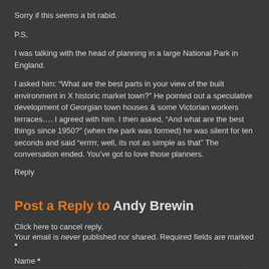Sorry if this seems a bit rabid.
P.S.
I was talking with the head of planning in a large National Park in England.
I asked him: “What are the best parts in your view of the built environment in X historic market town?” He pointed out a speculative development of Georgian town houses & some Victorian workers terraces…. I agreed with him. I then asked, “And what are the best things since 1950?” (when the park was formed) he was silent for ten seconds and said “errrrr, well, its not as simple as that” The conversation ended. You’ve got to love those planners.
Reply
Post a Reply to Andy Brewin
Click here to cancel reply.
Your email is never published nor shared. Required fields are marked *
Name *